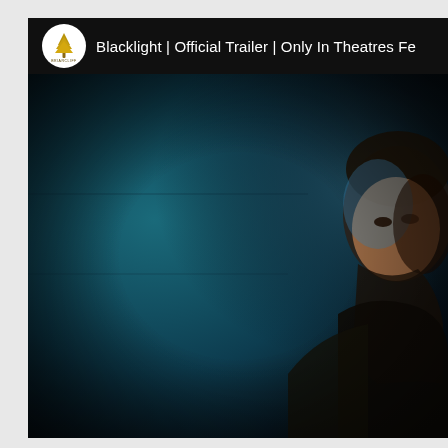[Figure (screenshot): YouTube video thumbnail/screenshot showing the official trailer for 'Blacklight' featuring Liam Neeson. The image shows a dark teal/blue background with an actor's face partially visible on the right side. The top bar shows the Briarcliff Entertainment channel logo (white circle with a golden tree icon) and the video title 'Blacklight | Official Trailer | Only In Theatres Fe...' The bottom of the image shows 'LIAM' in italic gold letters and 'BLAC' (truncated) in large silver/grey italic letters.]